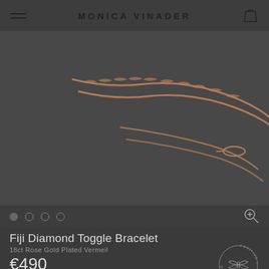MONICA VINADER
[Figure (photo): Close-up of a rose gold chain bracelet (Fiji Diamond Toggle Bracelet) on a dark grey background, showing the delicate chain links and toggle clasp.]
Fiji Diamond Toggle Bracelet
18ct Rose Gold Plated Vermeil
€490
Finish: 18ct Rose Gold Plated Vermeil